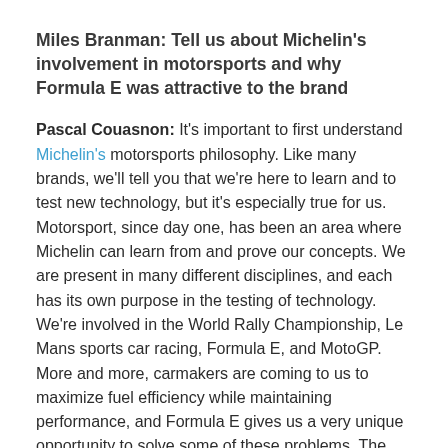Miles Branman: Tell us about Michelin's involvement in motorsports and why Formula E was attractive to the brand
Pascal Couasnon: It's important to first understand Michelin's motorsports philosophy. Like many brands, we'll tell you that we're here to learn and to test new technology, but it's especially true for us. Motorsport, since day one, has been an area where Michelin can learn from and prove our concepts. We are present in many different disciplines, and each has its own purpose in the testing of technology. We're involved in the World Rally Championship, Le Mans sports car racing, Formula E, and MotoGP. More and more, carmakers are coming to us to maximize fuel efficiency while maintaining performance, and Formula E gives us a very unique opportunity to solve some of these problems. The tire is responsible for 20 percent of the energy consumed by your standard vehicle, one